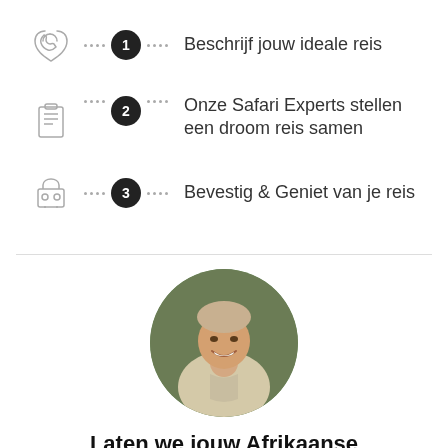1 Beschrijf jouw ideale reis
2 Onze Safari Experts stellen een droom reis samen
3 Bevestig & Geniet van je reis
[Figure (photo): Circular portrait photo of a smiling man in a light khaki safari shirt, with a blurred green outdoor background]
Laten we jouw Afrikaanse